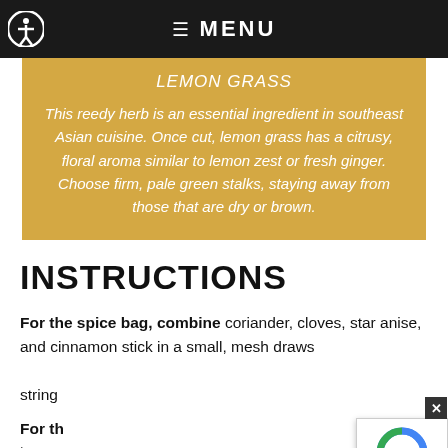☰ MENU
LEMON GRASS
This reedy herb is an essential ingredient in southeast Asian cuisine. Once cut, lemon grass has a citrusy, floral aroma similar to lemon zest or fresh ginger. Choose firm, pale green stalks, staying away from those that are dry or brown.
INSTRUCTIONS
For the spice bag, combine coriander, cloves, star anise, and cinnamon stick in a small, mesh draws... string
For th...